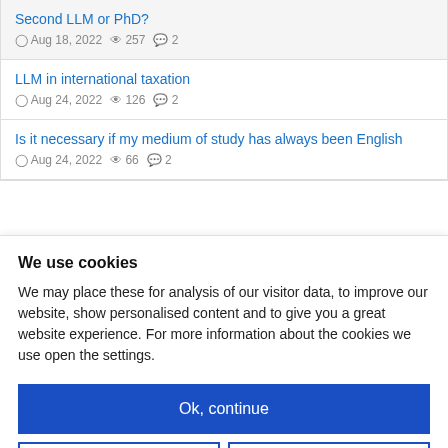Second LLM or PhD?
Aug 18, 2022 · 257 views · 2 comments
LLM in international taxation
Aug 24, 2022 · 126 views · 2 comments
Is it necessary if my medium of study has always been English
Aug 24, 2022 · 66 views · 2 comments
We use cookies
We may place these for analysis of our visitor data, to improve our website, show personalised content and to give you a great website experience. For more information about the cookies we use open the settings.
Ok, continue
Deny
No, adjust